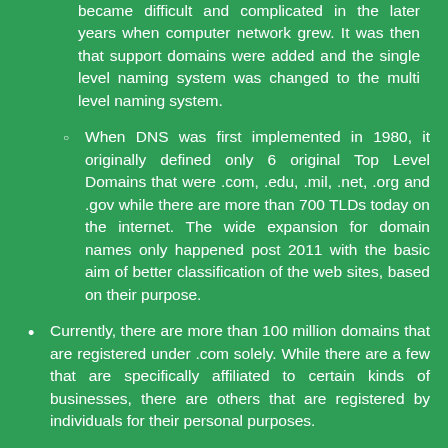became difficult and complicated in the later years when computer network grew. It was then that support domains were added and the single level naming system was changed to the multi level naming system.
When DNS was first implemented in 1980, it originally defined only 6 original Top Level Domains that were .com, .edu, .mil, .net, .org and .gov while there are more than 700 TLDs today on the internet. The wide expansion for domain names only happened post 2011 with the basic aim of better classification of the web sites, based on their purpose.
Currently, there are more than 100 million domains that are registered under .com solely. While there are a few that are specifically affiliated to certain kinds of businesses, there are others that are registered by individuals for their personal purposes.
DNS works both in forward and the reverse